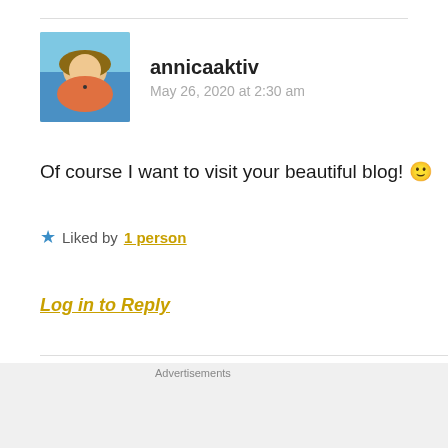[Figure (photo): User avatar photo of annicaaktiv showing a person at a beach/pool]
annicaaktiv
May 26, 2020 at 2:30 am
Of course I want to visit your beautiful blog! 🙂
★ Liked by 1 person
Log in to Reply
Advertisements
[Figure (screenshot): DuckDuckGo advertisement banner: Search, browse, and email with more privacy. All in One Free App. Shows DuckDuckGo logo on a phone.]